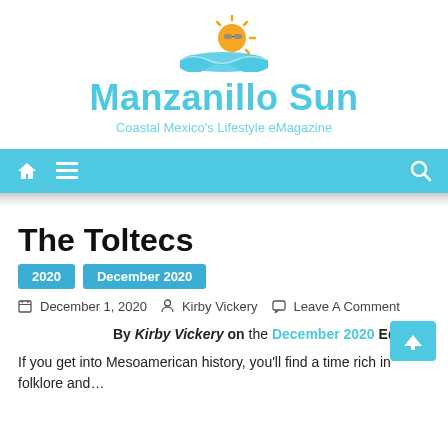[Figure (logo): Manzanillo Sun logo: sun with sunglasses rising over a blue wave]
Manzanillo Sun
Coastal Mexico's Lifestyle eMagazine
[Figure (other): Navigation bar with home icon, hamburger menu icon, and search icon on cyan background]
The Toltecs
2020   December 2020
December 1, 2020   Kirby Vickery   Leave A Comment
By Kirby Vickery on the December 2020 Edition
If you get into Mesoamerican history, you'll find a time rich in folklore and...